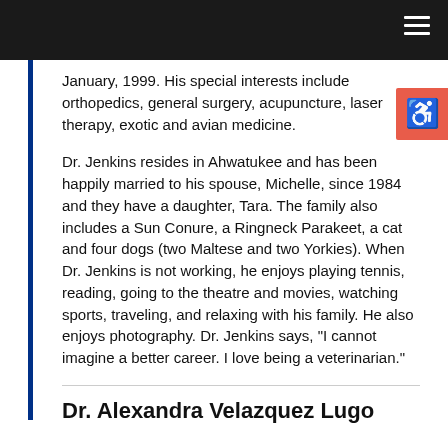January, 1999.  His special interests include orthopedics, general surgery, acupuncture, laser therapy, exotic and avian medicine.
Dr. Jenkins resides in Ahwatukee and has been happily married to his spouse, Michelle, since 1984 and they have a daughter, Tara.  The family also includes a Sun Conure, a Ringneck Parakeet, a cat and four dogs (two Maltese and two Yorkies). When Dr. Jenkins is not working, he enjoys playing tennis, reading, going to the theatre and movies, watching sports, traveling, and relaxing with his family.  He also enjoys photography.  Dr. Jenkins says, "I cannot imagine a better career.  I love being a veterinarian."
Dr. Alexandra Velazquez Lugo